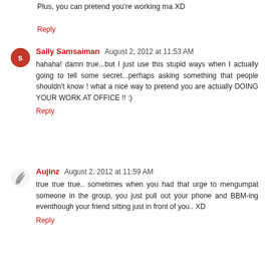Plus, you can pretend you're working ma XD
Reply
Sally Samsaiman  August 2, 2012 at 11:53 AM
hahaha! damn true...but I just use this stupid ways when I actually going to tell some secret...perhaps asking something that people shouldn't know ! what a nice way to pretend you are actually DOING YOUR WORK AT OFFICE !! :)
Reply
Aujinz  August 2, 2012 at 11:59 AM
true true true.. sometimes when you had that urge to mengumpat someone in the group, you just pull out your phone and BBM-ing eventhough your friend sitting just in front of you.. XD
Reply